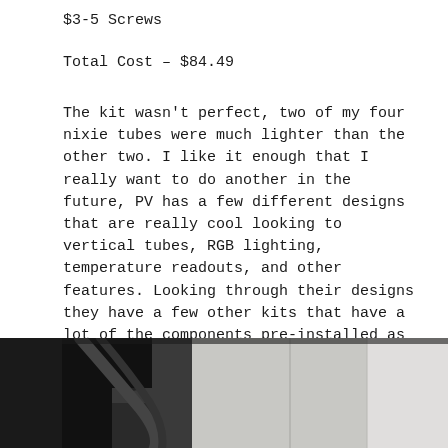$3-5 Screws
Total Cost – $84.49
The kit wasn't perfect, two of my four nixie tubes were much lighter than the other two. I like it enough that I really want to do another in the future, PV has a few different designs that are really cool looking to vertical tubes, RGB lighting, temperature readouts, and other features. Looking through their designs they have a few other kits that have a lot of the components pre-installed as well if you are afraid of messing something up when building one. At just under $85 my build was still a lot less than any of the designs sold. Going with a pre-made case would add another $15-$45 in costs but even that still is better.
[Figure (photo): Photo of a nixie tube clock build with visible tubes and dark enclosure, partially cropped at bottom of page]